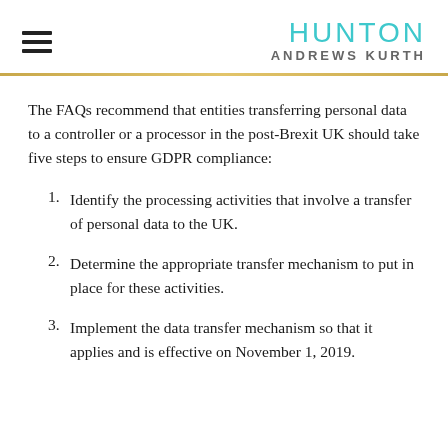HUNTON ANDREWS KURTH
The FAQs recommend that entities transferring personal data to a controller or a processor in the post-Brexit UK should take five steps to ensure GDPR compliance:
Identify the processing activities that involve a transfer of personal data to the UK.
Determine the appropriate transfer mechanism to put in place for these activities.
Implement the data transfer mechanism so that it applies and is effective on November 1, 2019.